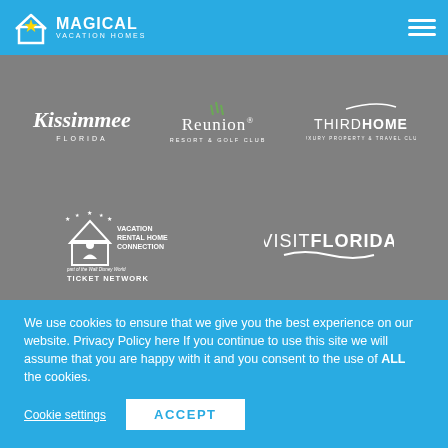Magical Vacation Homes
[Figure (logo): Partner logos on grey background: Kissimmee Florida, Reunion Resort & Golf Club, ThirdHome Luxury Property & Travel Club, Vacation Rental Home Connection part of the Walt Disney World Ticket Network, Visit Florida]
We use cookies to ensure that we give you the best experience on our website. Privacy Policy here If you continue to use this site we will assume that you are happy with it and you consent to the use of ALL the cookies.
Cookie settings  ACCEPT